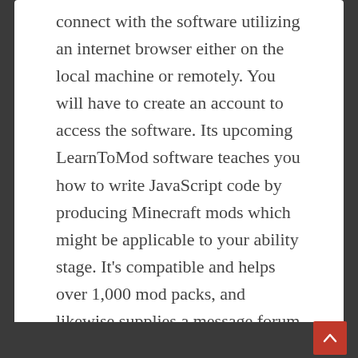connect with the software utilizing an internet browser either on the local machine or remotely. You will have to create an account to access the software. Its upcoming LearnToMod software teaches you how to write JavaScript code by producing Minecraft mods which might be applicable to your ability stage. It's compatible and helps over 1,000 mod packs, and likewise supplies a message forum and preinstalled web site together with the Minecraft server.